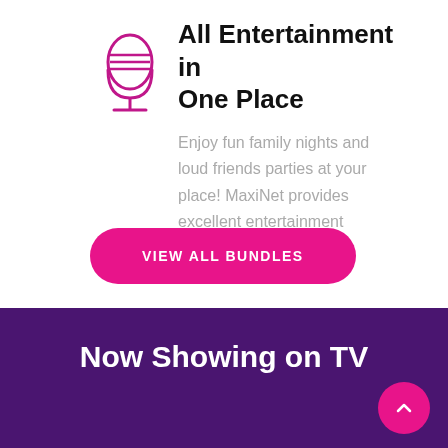[Figure (illustration): Magenta/pink microphone icon with horizontal lines and a stand, outlined style]
All Entertainment in One Place
Enjoy fun family nights and loud friends parties at your place! MaxiNet provides excellent entertainment
VIEW ALL BUNDLES
Now Showing on TV